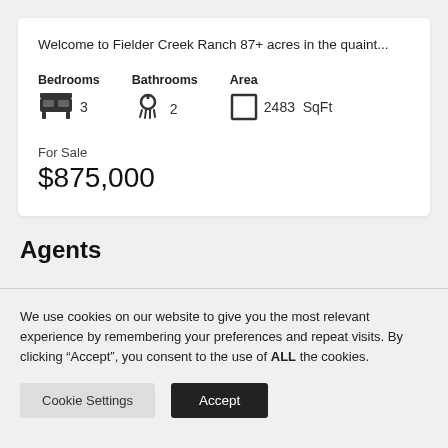Welcome to Fielder Creek Ranch 87+ acres in the quaint...
Bedrooms 3  Bathrooms 2  Area 2483 SqFt
For Sale
$875,000
Agents
We use cookies on our website to give you the most relevant experience by remembering your preferences and repeat visits. By clicking “Accept”, you consent to the use of ALL the cookies.
Cookie Settings  Accept